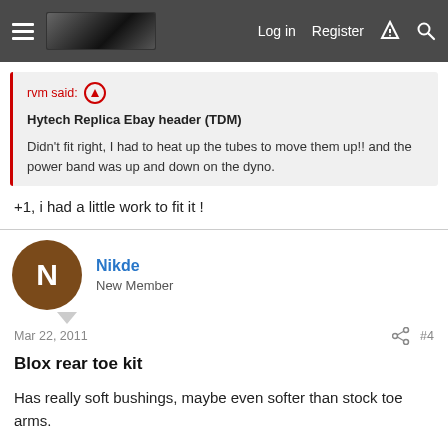Log in  Register
rvm said:
Hytech Replica Ebay header (TDM)

Didn't fit right, I had to heat up the tubes to move them up!! and the power band was up and down on the dyno.
+1, i had a little work to fit it !
Nikde
New Member
Mar 22, 2011   #4
Blox rear toe kit
Has really soft bushings, maybe even softer than stock toe arms.